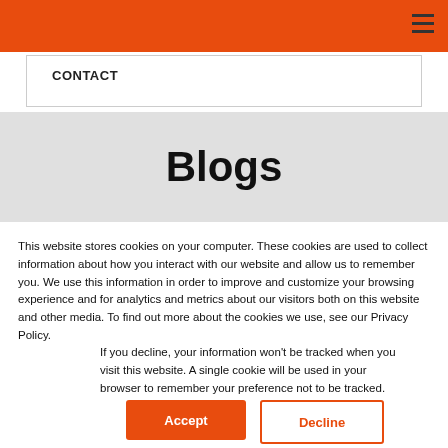CONTACT
Blogs
This website stores cookies on your computer. These cookies are used to collect information about how you interact with our website and allow us to remember you. We use this information in order to improve and customize your browsing experience and for analytics and metrics about our visitors both on this website and other media. To find out more about the cookies we use, see our Privacy Policy.
If you decline, your information won't be tracked when you visit this website. A single cookie will be used in your browser to remember your preference not to be tracked.
Accept
Decline